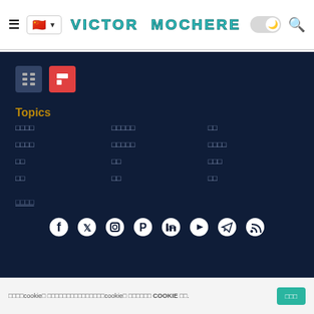VICTOR MOCHERE
Topics
□□□□
□□□□□
□□
□□□□
□□□□□
□□□□
□□
□□
□□□
□□
□□
□□
[Figure (screenshot): Social media and share icons including Google News and Flipboard]
[Figure (infographic): Social media icons: Facebook, Twitter, Instagram, Pinterest, LinkedIn, YouTube, Telegram, RSS]
□□□□cookie□ □□□□□□□□□□□□□□□cookie□ □□□□□□ COOKIE □□.
□□□